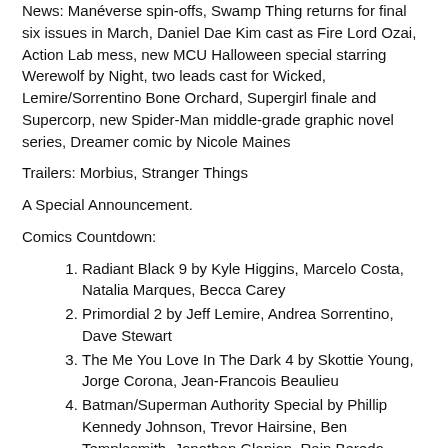News: Manéverse spin-offs, Swamp Thing returns for final six issues in March, Daniel Dae Kim cast as Fire Lord Ozai, Action Lab mess, new MCU Halloween special starring Werewolf by Night, two leads cast for Wicked, Lemire/Sorrentino Bone Orchard, Supergirl finale and Supercorp, new Spider-Man middle-grade graphic novel series, Dreamer comic by Nicole Maines
Trailers: Morbius, Stranger Things
A Special Announcement.
Comics Countdown:
Radiant Black 9 by Kyle Higgins, Marcelo Costa, Natalia Marques, Becca Carey
Primordial 2 by Jeff Lemire, Andrea Sorrentino, Dave Stewart
The Me You Love In The Dark 4 by Skottie Young, Jorge Corona, Jean-Francois Beaulieu
Batman/Superman Authority Special by Phillip Kennedy Johnson, Trevor Hairsine, Ben Templesmith, Jonathan Glapion, Rain Beredo, Scott Hanna
Manu GN by Kelly Fernandez
Crossover 9 by Donny Cates, Geoff Shaw, Dee Cunniffe
Human Target 1 by Tom King, Greg Smallwood
Dark Knights of Steel 1 by Tom Taylor, Yasmine Putri
Batman 116 by James Tynion IV, Jorge Jimenez, Becky Cloonan, Michael Conrad, Jorge Corona, Sarah Stern, Tomeu Morey
Good Asian 6 by Pornsak Pichetshote, Alexandre Tefenkgi, Lee